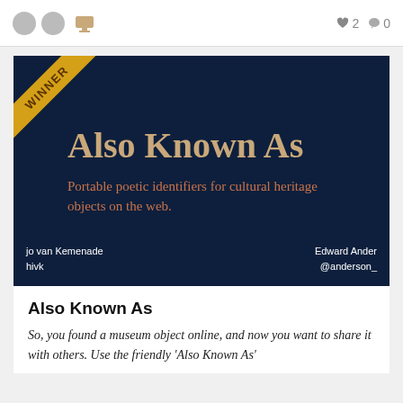[Figure (screenshot): Top navigation bar with two avatar circles, a square icon, heart count '2', and comment count '0']
[Figure (screenshot): Presentation slide on dark navy background with 'WINNER' banner in top-left corner, large title 'Also Known As' in gold serif font, subtitle 'Portable poetic identifiers for cultural heritage objects on the web.' in orange-brown serif font, and author names 'jo van Kemenade / hivk' on left and 'Edward Ander / @anderson_' on right at bottom]
Also Known As
So, you found a museum object online, and now you want to share it with others. Use the friendly 'Also Known As'